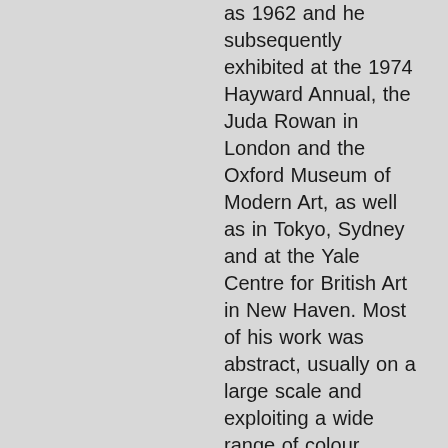as 1962 and he subsequently exhibited at the 1974 Hayward Annual, the Juda Rowan in London and the Oxford Museum of Modern Art, as well as in Tokyo, Sydney and at the Yale Centre for British Art in New Haven. Most of his work was abstract, usually on a large scale and exploiting a wide range of colour effects to suggest the shifting quality of light. Though other painters admired Goldingâ€™s compositions (one was Kenneth Noland), more critics claimed they were